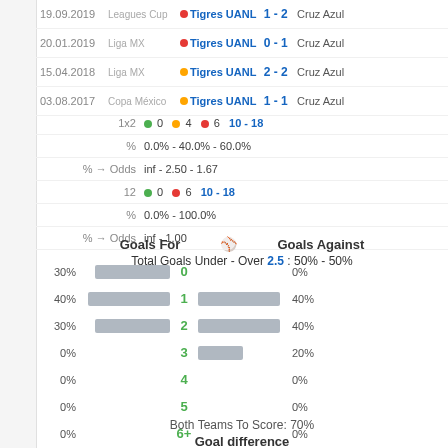| Date | Competition |  | Home | Score | Away |
| --- | --- | --- | --- | --- | --- |
| 19.09.2019 | Leagues Cup | ● | Tigres UANL | 1 - 2 | Cruz Azul |
| 20.01.2019 | Liga MX | ● | Tigres UANL | 0 - 1 | Cruz Azul |
| 15.04.2018 | Liga MX | ● | Tigres UANL | 2 - 2 | Cruz Azul |
| 03.08.2017 | Copa México | ● | Tigres UANL | 1 - 1 | Cruz Azul |
|  | 1x2 | 12 | % | % → Odds |
| --- | --- | --- | --- | --- |
| 1x2 | ● 0  ● 4  ● 6  10 - 18 |  |  |  |
| % | 0.0% - 40.0% - 60.0% |  |  |  |
| % → Odds | inf - 2.50 - 1.67 |  |  |  |
| 12 | ● 0  ● 6  10 - 18 |  |  |  |
| % | 0.0% - 100.0% |  |  |  |
| % → Odds | inf - 1.00 |  |  |  |
Total Goals Under - Over 2.5 : 50% - 50%
[Figure (bar-chart): Goals For / Goals Against]
Both Teams To Score: 70%
Goal difference
| Diff | Bar | Pct |
| --- | --- | --- |
| +2 |  | 0% |
| +1 |  | 0% |
| 0 | ████████████████████ | 40% |
| -1 | ████████████████████ | 40% |
| -2 | █████ |  |